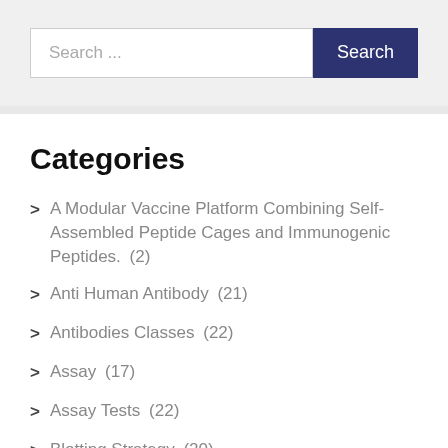[Figure (screenshot): Search bar with text input placeholder 'Search ...' and a dark navy 'Search' button]
Categories
A Modular Vaccine Platform Combining Self-Assembled Peptide Cages and Immunogenic Peptides. (2)
Anti Human Antibody (21)
Antibodies Classes (22)
Assay (17)
Assay Tests (22)
Blotting Strategy (20)